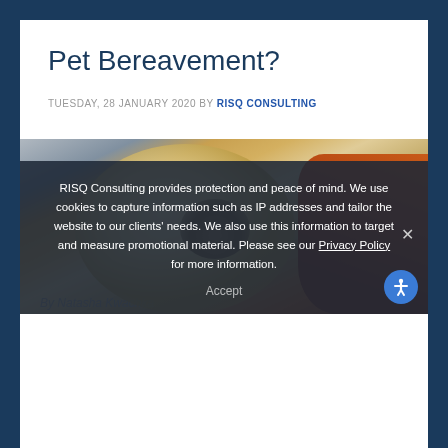Pet Bereavement?
TUESDAY, 28 JANUARY 2020 BY RISQ CONSULTING
[Figure (photo): A golden/cream long-haired dog and an orange cat resting together against a dark blue-grey background]
RISQ Consulting provides protection and peace of mind. We use cookies to capture information such as IP addresses and tailor the website to our clients' needs. We also use this information to target and measure promotional material. Please see our Privacy Policy for more information.
Accept
By Natasha Kwachka